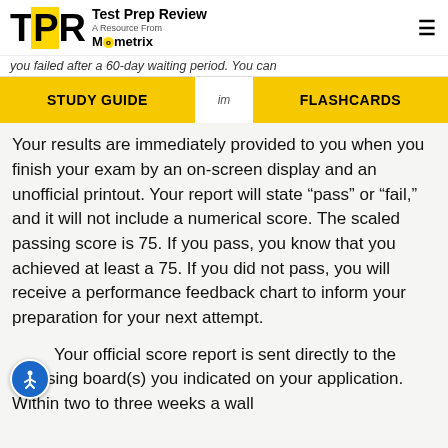Test Prep Review — A Resource From Mometrix
you failed after a 60-day waiting period. You can im
STUDY GUIDE   FLASHCARDS
Your results are immediately provided to you when you finish your exam by an on-screen display and an unofficial printout. Your report will state “pass” or “fail,” and it will not include a numerical score. The scaled passing score is 75. If you pass, you know that you achieved at least a 75. If you did not pass, you will receive a performance feedback chart to inform your preparation for your next attempt.
Your official score report is sent directly to the licensing board(s) you indicated on your application. Within two to three weeks a wall